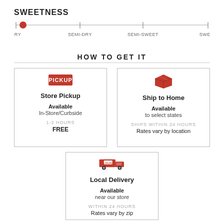[Figure (infographic): Sweetness scale showing a horizontal line from DRY to SWEET with a red dot marker positioned at the DRY end. Labels: DRY, SEMI-DRY, SEMI-SWEET, SWEET]
HOW TO GET IT
[Figure (infographic): Store Pickup card with PICKUP badge icon. Available In-Store/Curbside. 1-2 HOURS FREE.]
[Figure (infographic): Ship to Home card with package icon. Available to select states. SHIPS WITHIN 24 HOURS. Rates vary by location.]
[Figure (infographic): Local Delivery card with LOCAL delivery truck icon. Available near our store. WITHIN 24 HOURS. Rates vary by zip.]